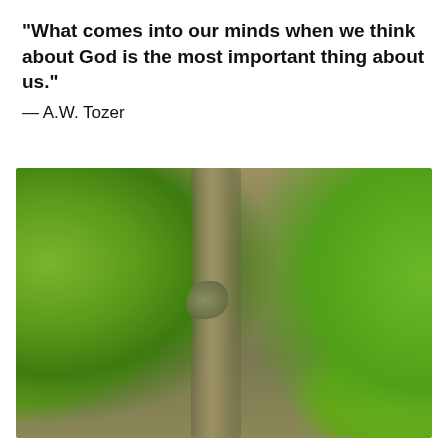“What comes into our minds when we think about God is the most important thing about us.”
— A.W. Tozer
[Figure (photo): Close-up macro photograph of a plant stem or branch with a small lizard or tree frog clinging to it. On the left is a large round green fruit (possibly a lime or lemon). On the right are vivid green leaves. The background is blurred with brownish-red and white tones (bokeh effect).]